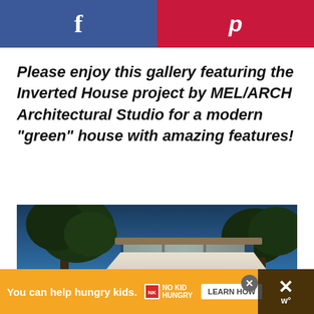[Figure (infographic): Facebook share button (blue with 'f' icon) on the left and Pinterest share button (red with 'p' icon) on the right]
Please enjoy this gallery featuring the Inverted House project by MEL/ARCH Architectural Studio for a modern "green" house with amazing features!
[Figure (photo): Exterior photograph of the Inverted House at dusk — a modern green house with large glass windows, flat roof, surrounded by large oak trees, with warm interior lighting glowing through floor-to-ceiling glass facade]
You can help hungry kids. NO KID HUNGRY LEARN HOW